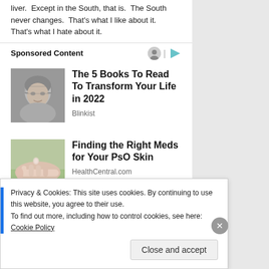liver.  Except in the South, that is.  The South never changes.  That's what I like about it.  That's what I hate about it.
Sponsored Content
[Figure (photo): Advertisement image showing a person with glasses (Blinkist ad)]
The 5 Books To Read To Transform Your Life in 2022
Blinkist
[Figure (photo): Advertisement image showing hands holding medication (HealthCentral.com ad)]
Finding the Right Meds for Your PsO Skin
HealthCentral.com
Privacy & Cookies: This site uses cookies. By continuing to use this website, you agree to their use.
To find out more, including how to control cookies, see here: Cookie Policy
Close and accept